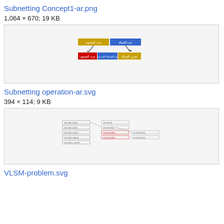Subnetting Concept1-ar.png
1,064 × 670; 19 KB
[Figure (schematic): Arabic-language subnetting concept diagram showing IP address parts split into network and host portions, with arrows pointing to subdivided components]
Subnetting operation-ar.svg
394 × 114; 9 KB
[Figure (schematic): Arabic-language subnetting operation diagram showing a hierarchical tree of subnet addresses]
VLSM-problem.svg